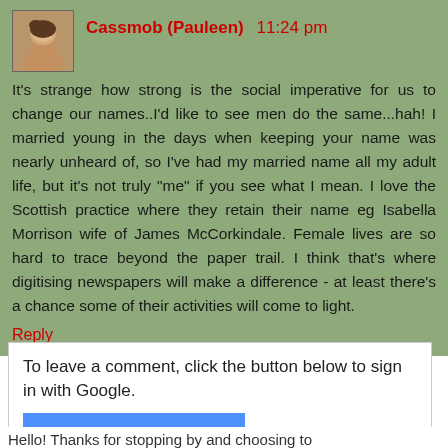Cassmob (Pauleen)  11:24 pm
It's strange how strong is the social imperative for us to change our names..I'd like to see men do the same...hah! I married young in the days when keeping your name was nearly unheard of, so I've had my married name all my adult life, but it's not truly "me" if you see what I mean. I love the Scottish practice where they retain their name eg Isabella Morrison wife of James McCorkindale. Female lives are so hard to trace beyond the paper trail. I think that's where digitising newspapers will make a difference - at least there's a chance some of their activities will come to light.
Reply
To leave a comment, click the button below to sign in with Google.
SIGN IN WITH GOOGLE
Hello! Thanks for stopping by and choosing to